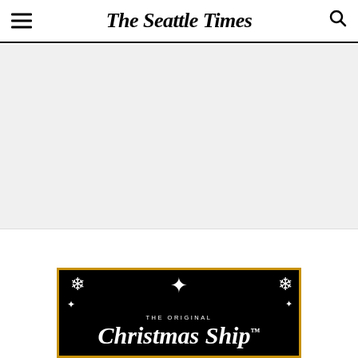The Seattle Times
[Figure (other): Gray advertisement placeholder area]
[Figure (other): The Original Christmas Ship advertisement banner with black background, gold border, snowflake and star decorations, white text reading 'THE ORIGINAL' and 'Christmas Ship']